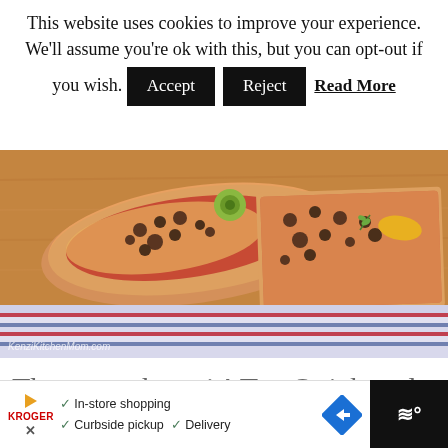This website uses cookies to improve your experience. We'll assume you're ok with this, but you can opt-out if you wish.  Accept  Reject  Read More
[Figure (photo): Close-up photo of pizza slices with toppings including ground meat, tomatoes, and green olive on a wooden cutting board with a striped cloth underneath. Watermark reads KenziKitchenMom.com]
There you have it! Ten Quick and Easy Weeknight Dinner Recipes. If you make any of these recipes, I'd love to hear from you
[Figure (infographic): Advertisement bar showing Kroger logo with In-store shopping, Curbside pickup, Delivery checkmarks and a blue diamond arrow icon]